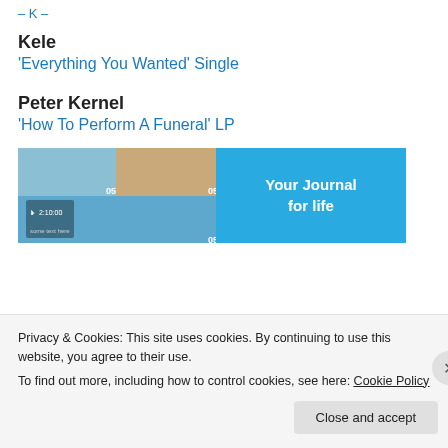– K –
Kele
'Everything You Wanted' Single
Peter Kernel
'How To Perform A Funeral' LP
[Figure (screenshot): Two app screenshots side by side: left shows a photo collage app with images and '05' labels; right shows a blue screen with text 'Your Journal for life']
Privacy & Cookies: This site uses cookies. By continuing to use this website, you agree to their use.
To find out more, including how to control cookies, see here: Cookie Policy